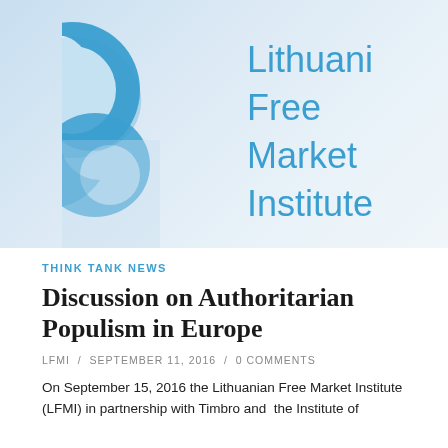[Figure (logo): Lithuanian Free Market Institute logo — blue abstract circular swirl shape on left, blue text 'Lithuanian Free Market Institute' on right, on a light blue gradient background]
THINK TANK NEWS
Discussion on Authoritarian Populism in Europe
LFMI / SEPTEMBER 11, 2016 / 0 COMMENTS
On September 15, 2016 the Lithuanian Free Market Institute (LFMI) in partnership with Timbro and  the Institute of